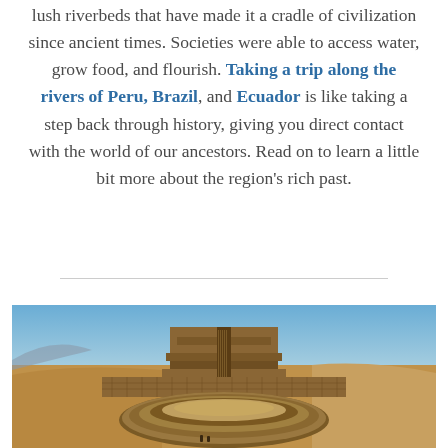lush riverbeds that have made it a cradle of civilization since ancient times. Societies were able to access water, grow food, and flourish. Taking a trip along the rivers of Peru, Brazil, and Ecuador is like taking a step back through history, giving you direct contact with the world of our ancestors. Read on to learn a little bit more about the region's rich past.
[Figure (photo): Ancient circular adobe ruins (likely Cahuachi or similar Nazca/Peruvian site) in a desert landscape under a clear blue sky. The structure shows a large circular pit surrounded by stepped adobe brick walls, with a stepped pyramid-like structure rising behind it.]